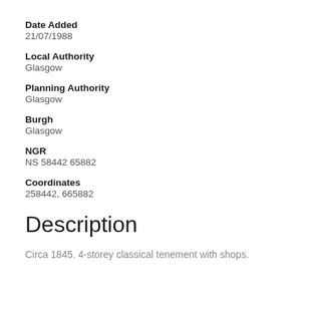Date Added
21/07/1988
Local Authority
Glasgow
Planning Authority
Glasgow
Burgh
Glasgow
NGR
NS 58442 65882
Coordinates
258442, 665882
Description
Circa 1845. 4-storey classical tenement with shops.